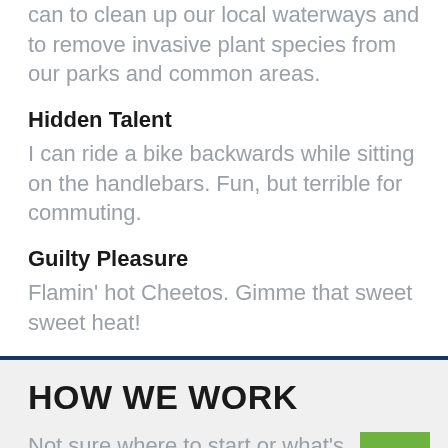can to clean up our local waterways and to remove invasive plant species from our parks and common areas.
Hidden Talent
I can ride a bike backwards while sitting on the handlebars. Fun, but terrible for commuting.
Guilty Pleasure
Flamin' hot Cheetos. Gimme that sweet sweet heat!
HOW WE WORK
Not sure where to start or what's involved